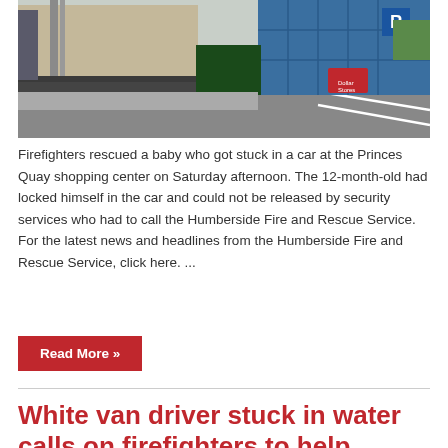[Figure (photo): Street scene outside Princes Quay shopping centre showing a road, buildings with blue scaffolding/parking structure with a P sign, and a grey industrial building.]
Firefighters rescued a baby who got stuck in a car at the Princes Quay shopping center on Saturday afternoon. The 12-month-old had locked himself in the car and could not be released by security services who had to call the Humberside Fire and Rescue Service. For the latest news and headlines from the Humberside Fire and Rescue Service, click here. ...
Read More »
White van driver stuck in water calls on firefighters to help